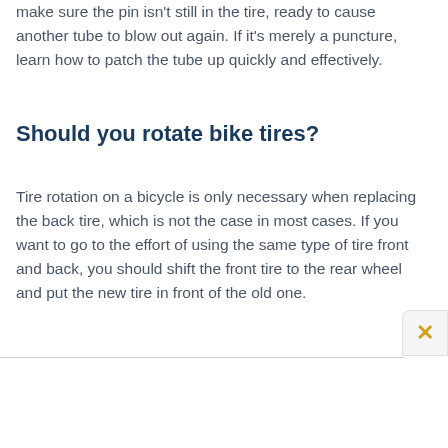make sure the pin isn't still in the tire, ready to cause another tube to blow out again. If it's merely a puncture, learn how to patch the tube up quickly and effectively.
Should you rotate bike tires?
Tire rotation on a bicycle is only necessary when replacing the back tire, which is not the case in most cases. If you want to go to the effort of using the same type of tire front and back, you should shift the front tire to the rear wheel and put the new tire in front of the old one.